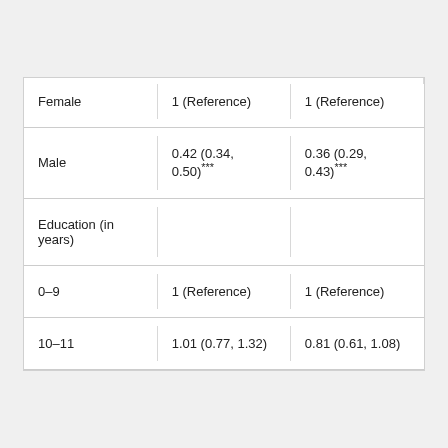| Female | 1 (Reference) | 1 (Reference) |
| Male | 0.42 (0.34, 0.50)*** | 0.36 (0.29, 0.43)*** |
| Education (in years) |  |  |
| 0–9 | 1 (Reference) | 1 (Reference) |
| 10–11 | 1.01 (0.77, 1.32) | 0.81 (0.61, 1.08) |